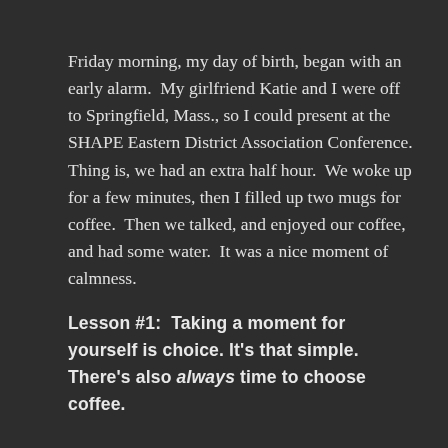Friday morning, my day of birth, began with an early alarm.  My girlfriend Katie and I were off to Springfield, Mass., so I could present at the SHAPE Eastern District Association Conference. Thing is, we had an extra half hour.  We woke up for a few minutes, then I filled up two mugs for coffee.  Then we talked, and enjoyed our coffee, and had some water.  It was a nice moment of calmness.
Lesson #1:  Taking a moment for yourself is choice. It's that simple.  There's also always time to choose coffee.